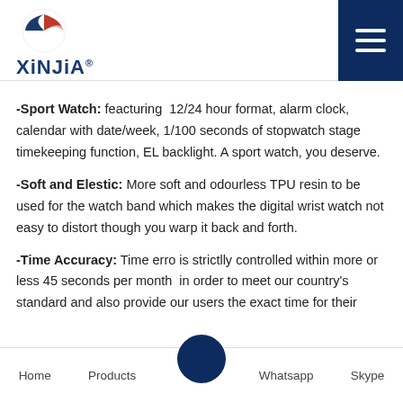XiNJiA logo and navigation menu
-Sport Watch: feacturing  12/24 hour format, alarm clock, calendar with date/week, 1/100 seconds of stopwatch stage timekeeping function, EL backlight. A sport watch, you deserve.
-Soft and Elestic: More soft and odourless TPU resin to be used for the watch band which makes the digital wrist watch not easy to distort though you warp it back and forth.
-Time Accuracy: Time erro is strictlly controlled within more or less 45 seconds per month  in order to meet our country's standard and also provide our users the exact time for their
Home  Products  Whatsapp  Skype